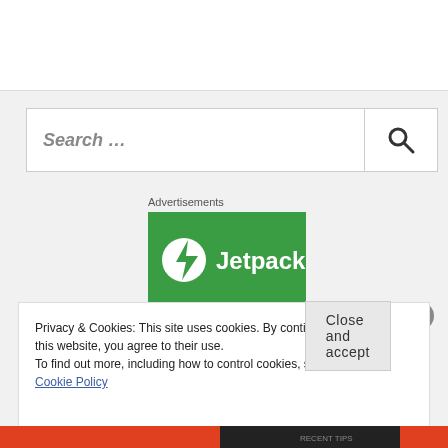[Figure (screenshot): White top navigation bar area of a website]
[Figure (screenshot): Search box with placeholder text 'Search ...' and a magnifying glass icon on the right]
Advertisements
[Figure (logo): Jetpack advertisement banner - green background with white Jetpack logo and text]
Privacy & Cookies: This site uses cookies. By continuing to use this website, you agree to their use. To find out more, including how to control cookies, see here: Cookie Policy
[Figure (screenshot): Bottom colored footer bar with orange and dark sections]